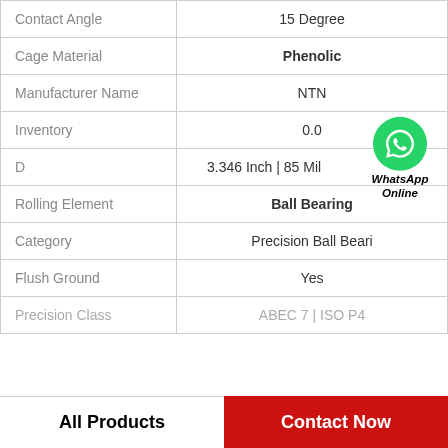| Property | Value |
| --- | --- |
| Contact Angle | 15 Degree |
| Cage Material | Phenolic |
| Manufacturer Name | NTN |
| Inventory | 0.0 |
| D | 3.346 Inch | 85 Mil |
| Rolling Element | Ball Bearing |
| Category | Precision Ball Beari |
| Flush Ground | Yes |
| Precision Class | ABEC 7 | ISO P4 |
All Products    Contact Now